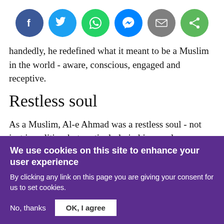[Figure (other): Row of six circular social media share buttons: Facebook (dark blue), Twitter (light blue), WhatsApp (green), Messenger (light blue), Email (grey), Share (green)]
handedly, he redefined what it meant to be a Muslim in the world - aware, conscious, engaged and receptive.
Restless soul
As a Muslim, Al-e Ahmad was a restless soul - not just in politics, but particularly in his moral imagination, literary taste, critical thinking and sense of the sacred. After he
We use cookies on this site to enhance your user experience
By clicking any link on this page you are giving your consent for us to set cookies.
No, thanks
OK, I agree